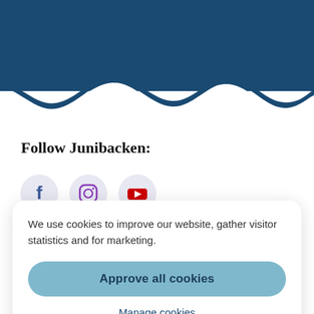[Figure (illustration): Dark blue header banner with white wavy bottom edge, giving a wave/ocean visual effect]
Follow Junibacken:
[Figure (illustration): Three social media icon circles partially visible: Facebook (blue), Instagram (purple), YouTube (red)]
We use cookies to improve our website, gather visitor statistics and for marketing.
Approve all cookies
Manage cookies